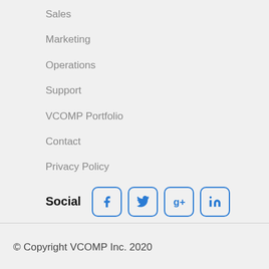Sales
Marketing
Operations
Support
VCOMP Portfolio
Contact
Privacy Policy
Social [Facebook, Twitter, Google+, LinkedIn icons]
© Copyright VCOMP Inc. 2020